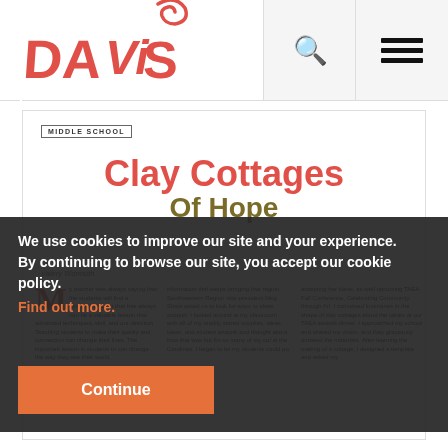[Figure (logo): Davis Publications logo — stylized orange 'DAViS' text with a swirl]
Search icon | Menu icon
MIDDLE SCHOOL
Clay Cottages Of Hope
Valery Wormuth
M [drop cap] article body text columns about clay cottages project, TAEA Fall Conference, Celebrating Community through Art, clay cottage shapes, templates etc.
We use cookies to improve our site and your experience. By continuing to browse our site, you accept our cookie policy.
Find out more.
Continue